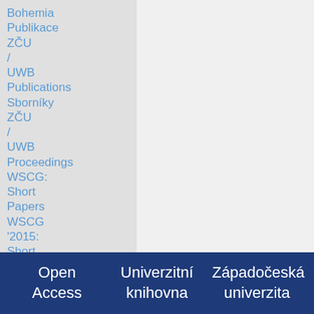Bohemia
Publikace ZČU / UWB Publications
Sborníky ZČU / UWB Proceedings
WSCG: Short Papers
WSCG '2015: Short Papers Proceedings
Open Access    Univerzitní knihovna    Západočeská univerzita